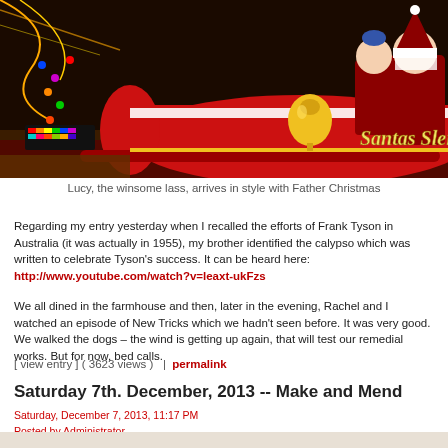[Figure (photo): Photo of a red illuminated Santa's Sleigh carnival/Christmas display with golden bells, Santa and a girl figure, with colorful lights in background]
Lucy, the winsome lass, arrives in style with Father Christmas
Regarding my entry yesterday when I recalled the efforts of Frank Tyson in Australia (it was actually in 1955), my brother identified the calypso which was written to celebrate Tyson's success. It can be heard here: http://www.youtube.com/watch?v=leaxt-ukFzs
We all dined in the farmhouse and then, later in the evening, Rachel and I watched an episode of New Tricks which we hadn't seen before. It was very good. We walked the dogs – the wind is getting up again, that will test our remedial works. But for now, bed calls.
[ view entry ] ( 3623 views )   |  permalink
Saturday 7th. December, 2013 -- Make and Mend
Saturday, December 7, 2013, 11:17 PM
Posted by Administrator
[Figure (photo): Bottom portion of another blog post photo, partially visible]